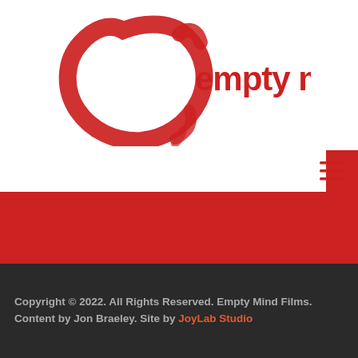[Figure (logo): Empty Mind Films logo: a red brushstroke circular enso symbol on the left, with the text 'empty mind' in bold red lowercase letters to the right]
[Figure (other): Hamburger menu icon with three red horizontal lines, positioned in the top-right navigation area]
Copyright © 2022. All Rights Reserved. Empty Mind Films. Content by Jon Braeley. Site by JoyLab Studio